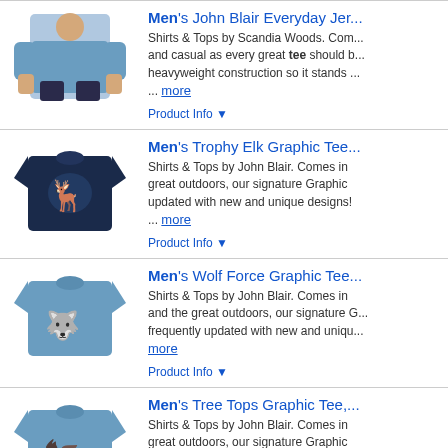[Figure (photo): Man wearing a blue long-sleeve jersey tee shirt]
Men's John Blair Everyday Jersey Tee
Shirts & Tops by Scandia Woods. Comfortable and casual as every great tee should be, with heavyweight construction so it stands ... more
Product Info ▼
[Figure (photo): Navy blue t-shirt with trophy elk graphic]
Men's Trophy Elk Graphic Tee
Shirts & Tops by John Blair. Comes in great outdoors, our signature Graphic updated with new and unique designs! ... more
Product Info ▼
[Figure (photo): Blue t-shirt with wolf force graphic]
Men's Wolf Force Graphic Tee
Shirts & Tops by John Blair. Comes in and the great outdoors, our signature G frequently updated with new and unique more
Product Info ▼
[Figure (photo): Blue t-shirt with tree tops eagle graphic]
Men's Tree Tops Graphic Tee,
Shirts & Tops by John Blair. Comes in great outdoors, our signature Graphic updated with new and unique designs! ... more
Product Info ▼